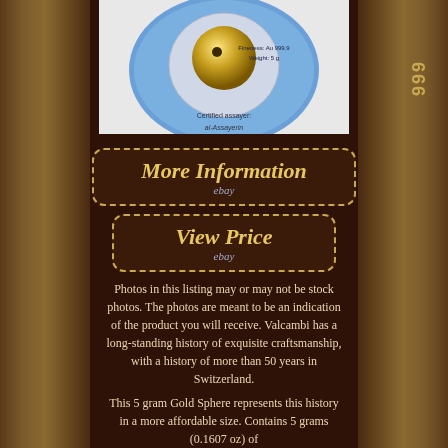[Figure (photo): Gold sphere coin in blue circular certified assayer packaging showing Fineness: Au 999.9, Weight: 5g, with eBay watermark]
[Figure (infographic): More Information button with dotted border and ebay sub-label]
[Figure (infographic): View Price button with dotted border and ebay sub-label]
Photos in this listing may or may not be stock photos. The photos are meant to be an indication of the product you will receive. Valcambi has a long-standing history of exquisite craftsmanship, with a history of more than 50 years in Switzerland.
This 5 gram Gold Sphere represents this history in a more affordable size. Contains 5 grams (0.1607 oz) of